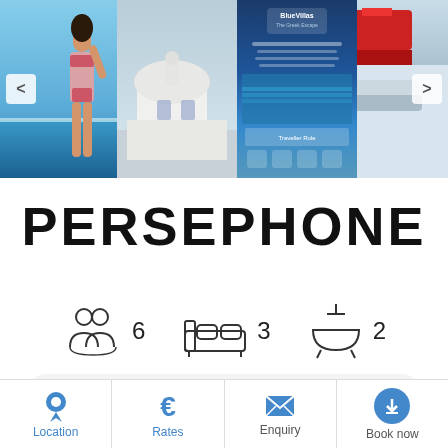[Figure (photo): Image carousel strip showing 4 photos: woman by infinity pool, white Cycladic architecture, BlueVillas website screenshot, partial view of another villa]
PERSEPHONE
[Figure (infographic): Amenity icons row: people icon = 6 guests, bed icon = 3 bedrooms, bathtub icon = 2 bathrooms]
[Figure (infographic): Feature card with icons: Private Pool, Kids Friendly, Pet Friendly]
[Figure (infographic): Bottom navigation bar with 4 buttons: Location (map pin icon), Rates (euro icon), Enquiry (envelope icon), Book now (download/circle icon)]